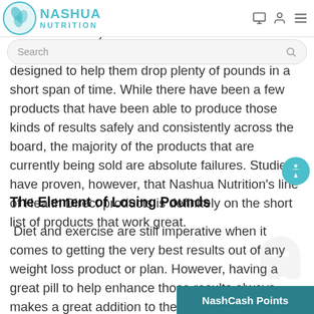NASHUA NUTRITION
Millions of people are collectively spending billions of dollars each year all around the world on a wide variety of pills and potions that are specifically designed to help them drop plenty of pounds in a short span of time.  While there have been a few products that have been able to produce those kinds of results safely and consistently across the board, the majority of the products that are currently being sold are absolute failures.  Studies have proven, however, that Nashua Nutrition's line of Health Direct products is definitely on the short list of products that work great.
The Element of Losing Pounds
Diet and exercise are still imperative when it comes to getting the very best results out of any weight loss product or plan.  However, having a great pill to help enhance those results always makes a great addition to the process.  Nashua Nutrition has been able to hit that mark when they dec Health Direct 24/7 Weight Loss can